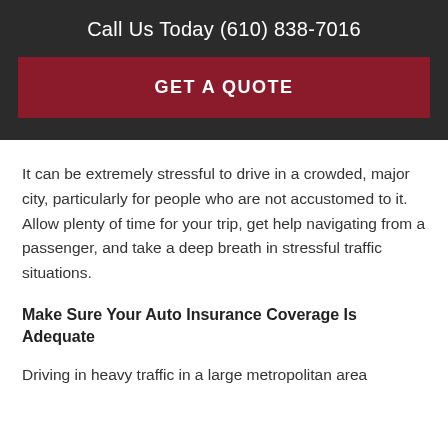Call Us Today (610) 838-7016
GET A QUOTE
It can be extremely stressful to drive in a crowded, major city, particularly for people who are not accustomed to it. Allow plenty of time for your trip, get help navigating from a passenger, and take a deep breath in stressful traffic situations.
Make Sure Your Auto Insurance Coverage Is Adequate
Driving in heavy traffic in a large metropolitan area